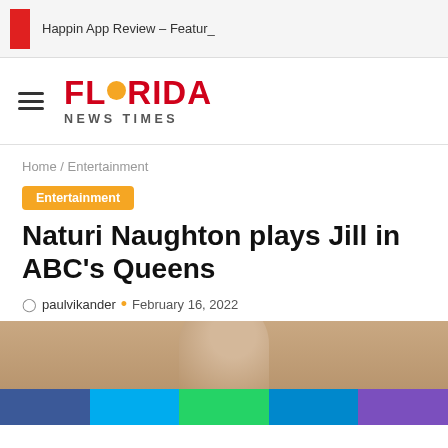Happin App Review – Featur_
[Figure (logo): Florida News Times logo with red FLORIDA text and orange sun replacing the O, and NEWS TIMES subtitle]
Home / Entertainment
Entertainment
Naturi Naughton plays Jill in ABC's Queens
paulvikander · February 16, 2022
[Figure (photo): Photo of a person, partially visible, cropped at top of frame]